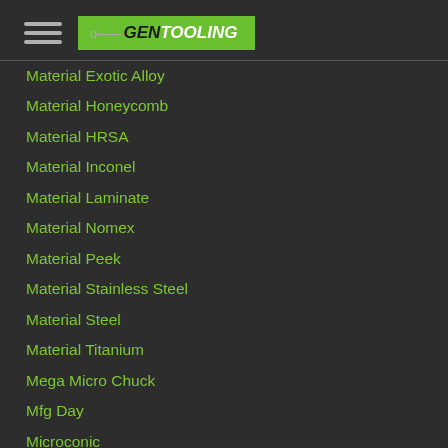GEN TOOLING
Material Exotic Alloy
Material Honeycomb
Material HRSA
Material Inconel
Material Laminate
Material Nomex
Material Peek
Material Stainless Steel
Material Steel
Material Titanium
Mega Micro Chuck
Mfg Day
Microconic
Microconic 5C
Microconic F20M10
Micromachining
Modern Machine Shop